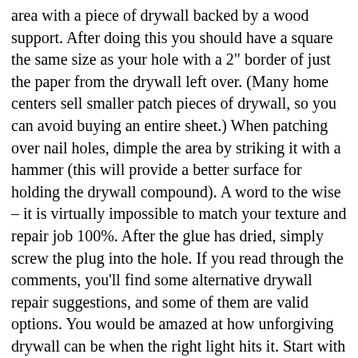area with a piece of drywall backed by a wood support. After doing this you should have a square the same size as your hole with a 2" border of just the paper from the drywall left over. (Many home centers sell smaller patch pieces of drywall, so you can avoid buying an entire sheet.) When patching over nail holes, dimple the area by striking it with a hammer (this will provide a better surface for holding the drywall compound). A word to the wise – it is virtually impossible to match your texture and repair job 100%. After the glue has dried, simply screw the plug into the hole. If you read through the comments, you'll find some alternative drywall repair suggestions, and some of them are valid options. You would be amazed at how unforgiving drywall can be when the right light hits it. Start with the round wallpaper then the damaged wallpaper. Essentially, you are building a framework of these two strips for the new piece of drywall to rest on. 1. Patch the hole in the wall with a drywall patch kit. Participated in the Woodworking Contest 2017. Whether you're moving a picture or repairing a serious mishap like a door knob punching a hole in your wall, filling a wall hole is a project you can tackle yourself. At other locations you will still have a problem to address. Simply coat a rawl plug with glue and tap it into the oversized screw hole. Can you even tell where the patch is in the above picture? Place drywall piece over the damaged area (Image 1) and trace around it with a pencil (Image 2). Step 2 . Draw an X on the wall above the hole and an arrow on the patch that points at the X so you'll know how to orient the patch in Step 6. It will also involve a little more material